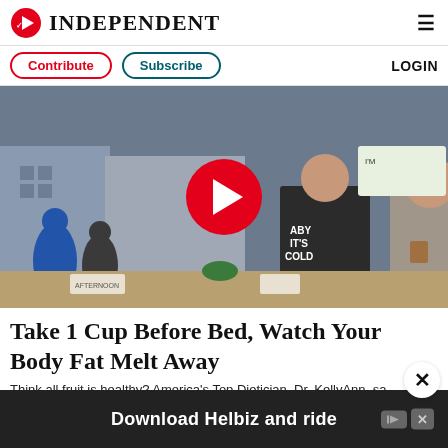INDEPENDENT
Contribute   Subscribe   LOGIN
[Figure (photo): Video thumbnail showing people at an event/market, with a large red play button overlay. A woman wearing a 'Baby It's Cold' shirt and a man holding a coffee cup are visible.]
Take 1 Cup Before Bed, Watch Your Body Fat Melt Away
Think all fruit is healthy? America's Top Dietician, Dr. KellyAnn, sa
[Figure (screenshot): Advertisement banner reading 'Download Helbiz and ride']